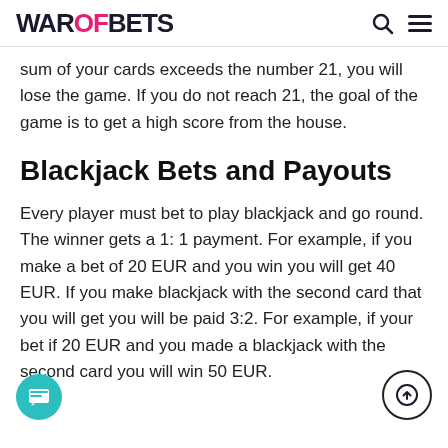WAROFBETS
sum of your cards exceeds the number 21, you will lose the game. If you do not reach 21, the goal of the game is to get a high score from the house.
Blackjack Bets and Payouts
Every player must bet to play blackjack and go round. The winner gets a 1: 1 payment. For example, if you make a bet of 20 EUR and you win you will get 40 EUR. If you make blackjack with the second card that you will get you will be paid 3:2. For example, if your bet if 20 EUR and you made a blackjack with the second card you will win 50 EUR.